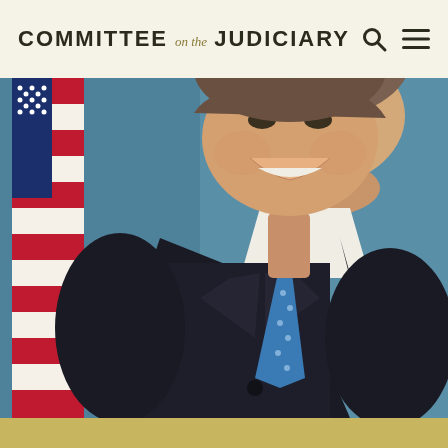COMMITTEE on the JUDICIARY
[Figure (photo): Official portrait photo of a man in a dark suit with a blue patterned tie, smiling, with an American flag visible to his left and a blue-grey background. The photo is cropped from shoulders up to just above the head.]